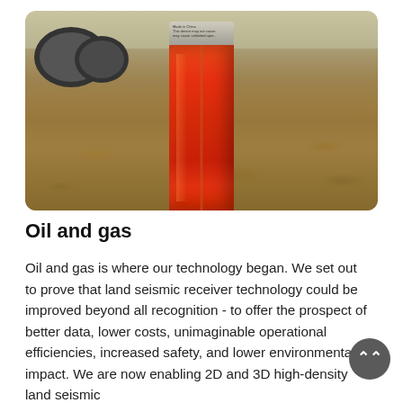[Figure (photo): Outdoor photograph of an orange cylindrical land seismic receiver device standing upright on sandy ground covered with dried leaves, with vehicle tires visible in the background.]
Oil and gas
Oil and gas is where our technology began. We set out to prove that land seismic receiver technology could be improved beyond all recognition - to offer the prospect of better data, lower costs, unimaginable operational efficiencies, increased safety, and lower environmental impact. We are now enabling 2D and 3D high-density land seismic